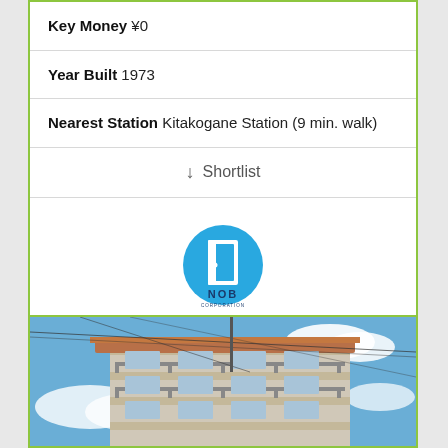Key Money ¥0
Year Built 1973
Nearest Station Kitakogane Station (9 min. walk)
↓ Shortlist
[Figure (logo): NOB Corporation logo - blue circular door icon with NOB CORPORATION text below]
NOB CO., LTD.
[Figure (photo): Exterior photo of a multi-story building with balconies, taken from below against a blue sky with clouds]